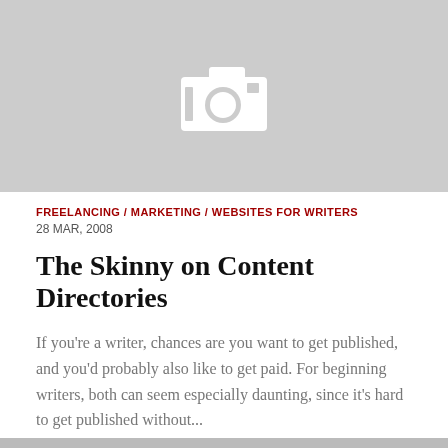[Figure (photo): Gray placeholder image with a white camera icon in the center]
FREELANCING / MARKETING / WEBSITES FOR WRITERS
28 MAR, 2008
The Skinny on Content Directories
If you're a writer, chances are you want to get published, and you'd probably also like to get paid. For beginning writers, both can seem especially daunting, since it's hard to get published without...